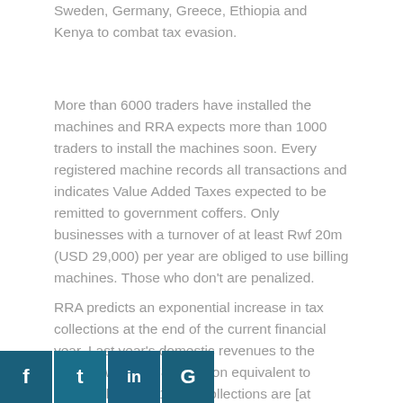Sweden, Germany, Greece, Ethiopia and Kenya to combat tax evasion.
More than 6000 traders have installed the machines and RRA expects more than 1000 traders to install the machines soon. Every registered machine records all transactions and indicates Value Added Taxes expected to be remitted to government coffers. Only businesses with a turnover of at least Rwf 20m (USD 29,000) per year are obliged to use billing machines. Those who don't are penalized.
RRA predicts an exponential increase in tax collections at the end of the current financial year. Last year's domestic revenues to the budget was Rwf782.5 billion equivalent to [financial year 2014/15, collections are [at Rwf906.8 billion, increased by
[Figure (other): Social media sharing icons bar: Facebook (f), Twitter (t), LinkedIn (in), Google+ (G)]